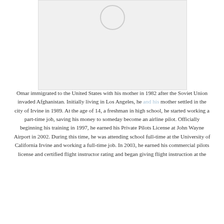[Figure (photo): A placeholder image box with a circular loading/placeholder icon at the top center]
Omar immigrated to the United States with his mother in 1982 after the Soviet Union invaded Afghanistan. Initially living in Los Angeles, he and his mother settled in the city of Irvine in 1989. At the age of 14, a freshman in high school, he started working a part-time job, saving his money to someday become an airline pilot. Officially beginning his training in 1997, he earned his Private Pilots License at John Wayne Airport in 2002. During this time, he was attending school full-time at the University of California Irvine and working a full-time job. In 2003, he earned his commercial pilots license and certified flight instructor rating and began giving flight instruction at the